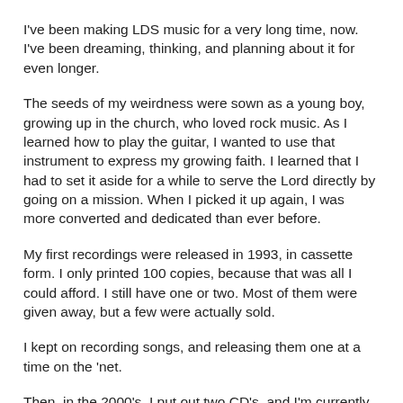I've been making LDS music for a very long time, now.  I've been dreaming, thinking, and planning about it for even longer.
The seeds of my weirdness were sown as a young boy, growing up in the church, who loved rock music.  As I learned how to play the guitar, I wanted to use that instrument to express my growing faith.  I learned that I had to set it aside for a while to serve the Lord directly by going on a mission.  When I picked it up again, I was more converted and dedicated than ever before.
My first recordings were released in 1993, in cassette form.  I only printed 100 copies, because that was all I could afford.  I still have one or two.  Most of them were given away, but a few were actually sold.
I kept on recording songs, and releasing them one at a time on the 'net.
Then, in the 2000's, I put out two CD's, and I'm currently